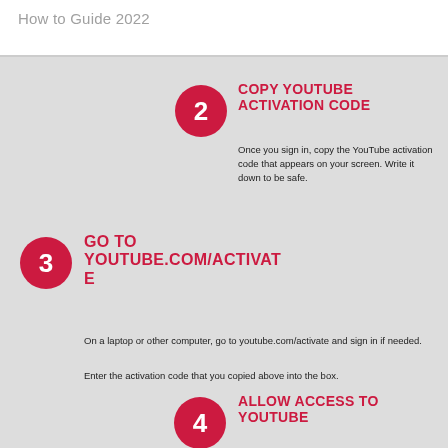How to Guide 2022
2 COPY YOUTUBE ACTIVATION CODE
Once you sign in, copy the YouTube activation code that appears on your screen. Write it down to be safe.
3 GO TO YOUTUBE.COM/ACTIVATE
On a laptop or other computer, go to youtube.com/activate and sign in if needed.
Enter the activation code that you copied above into the box.
4 ALLOW ACCESS TO YOUTUBE
Once you enter the code, choose allow access to [x] ve YouTube on your device.